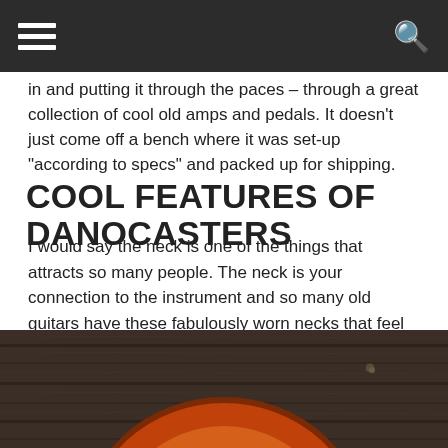in and putting it through the paces – through a great collection of cool old amps and pedals. It doesn’t just come off a bench where it was set-up “according to specs” and packed up for shipping.
COOL FEATURES OF DANOCASTERS
I would say the neck is one of the things that attracts so many people. The neck is your connection to the instrument and so many old guitars have these fabulously worn necks that feel like your favorite pair of old jeans, just smooth and broken in. I worked for a very long time, trying different approaches, until we came up with our current hand-rubbed finish. It’s pretty time consuming – but worth the effort. The necks just feel like “home” – at least that’s the goal.
[Figure (photo): Photo of a guitar body resting on a wooden surface, shot from above. The guitar shows a reddish-orange finish and the wooden planks of the surface are dark brown.]